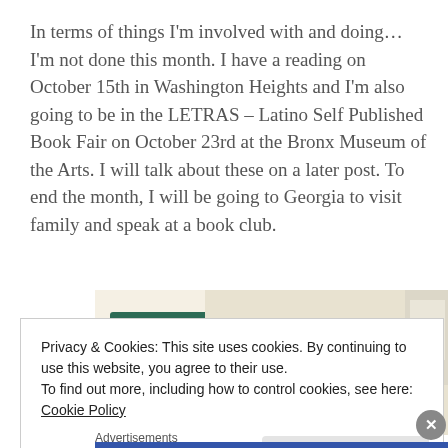In terms of things I'm involved with and doing… I'm not done this month. I have a reading on October 15th in Washington Heights and I'm also going to be in the LETRAS – Latino Self Published Book Fair on October 23rd at the Bronx Museum of the Arts. I will talk about these on a later post. To end the month, I will be going to Georgia to visit family and speak at a book club.
[Figure (other): Advertisement banner with a green 'Explore options' button on a beige background, and food/recipe images on the right side.]
Privacy & Cookies: This site uses cookies. By continuing to use this website, you agree to their use.
To find out more, including how to control cookies, see here: Cookie Policy
Close and accept
Advertisements